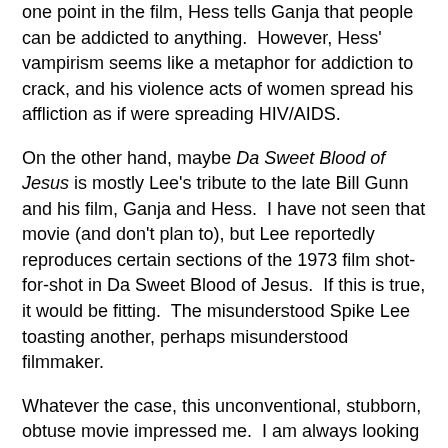one point in the film, Hess tells Ganja that people can be addicted to anything. However, Hess' vampirism seems like a metaphor for addiction to crack, and his violence acts of women spread his affliction as if were spreading HIV/AIDS.
On the other hand, maybe Da Sweet Blood of Jesus is mostly Lee's tribute to the late Bill Gunn and his film, Ganja and Hess. I have not seen that movie (and don't plan to), but Lee reportedly reproduces certain sections of the 1973 film shot-for-shot in Da Sweet Blood of Jesus. If this is true, it would be fitting. The misunderstood Spike Lee toasting another, perhaps misunderstood filmmaker.
Whatever the case, this unconventional, stubborn, obtuse movie impressed me. I am always looking for a fresh take on vampires, and this detached, but gruesome, not-quite-a-fantasy film is bloody refreshing. Also, fans of Lee's film, Red Hook Summer, will find that it is connected to Da Sweet Blood of Jesus via the Lil' Peace of Heaven Church.
Da Sweet Blood of Jesus has a lovely piano score by Bruce Hornsby and an invigorating and imaginative soundtrack featuring some more of your basic semi-obscure artists and